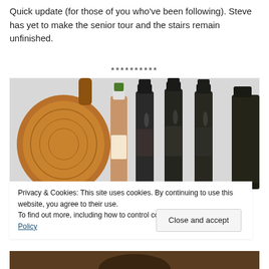Quick update (for those of you who've been following). Steve has yet to make the senior tour and the stairs remain unfinished.
**********
[Figure (photo): Photo of wine bottles lined up next to a large round wooden cutting board, against a light grey wall background.]
Privacy & Cookies: This site uses cookies. By continuing to use this website, you agree to their use.
To find out more, including how to control cookies, see here: Cookie Policy
Close and accept